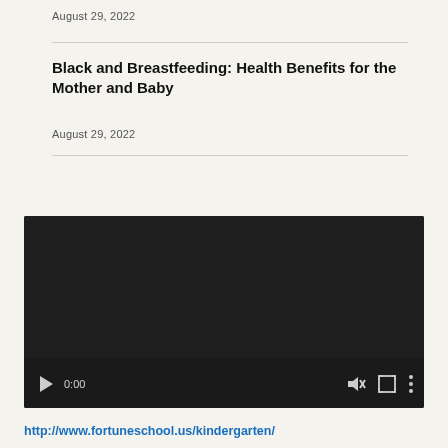August 29, 2022
Black and Breastfeeding: Health Benefits for the Mother and Baby
August 29, 2022
[Figure (screenshot): Embedded video player showing a dark/black screen with playback controls: play button, time display 0:00, mute button, fullscreen button, more options button, and a progress bar at the bottom.]
http://www.fortuneschool.us/kindergarten/